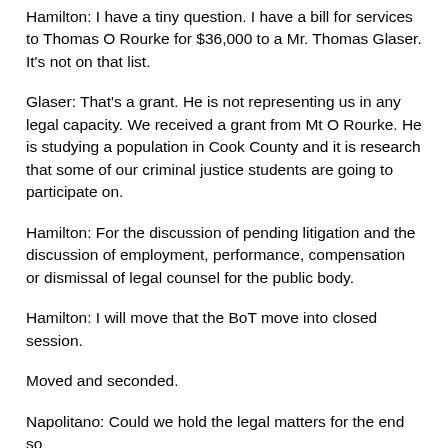Hamilton: I have a tiny question. I have a bill for services to Thomas O Rourke for $36,000 to a Mr. Thomas Glaser. It's not on that list.
Glaser: That's a grant. He is not representing us in any legal capacity. We received a grant from Mt O Rourke. He is studying a population in Cook County and it is research that some of our criminal justice students are going to participate on.
Hamilton: For the discussion of pending litigation and the discussion of employment, performance, compensation or dismissal of legal counsel for the public body.
Hamilton: I will move that the BoT move into closed session.
Moved and seconded.
Napolitano: Could we hold the legal matters for the end so